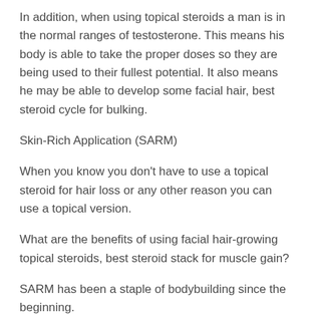In addition, when using topical steroids a man is in the normal ranges of testosterone. This means his body is able to take the proper doses so they are being used to their fullest potential. It also means he may be able to develop some facial hair, best steroid cycle for bulking.
Skin-Rich Application (SARM)
When you know you don't have to use a topical steroid for hair loss or any other reason you can use a topical version.
What are the benefits of using facial hair-growing topical steroids, best steroid stack for muscle gain?
SARM has been a staple of bodybuilding since the beginning.